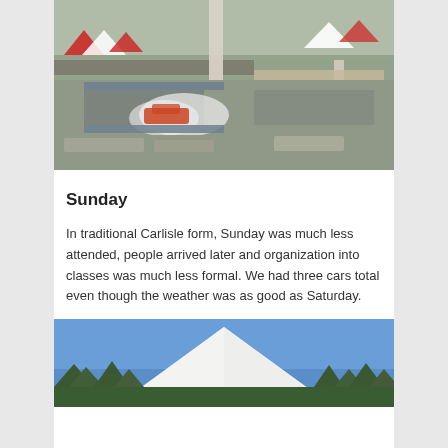[Figure (photo): Aerial or elevated view of a drag racing event at Carlisle, showing cars on the strip, smoke, spectators, and vendor tents in the background with 'CARLISLE' signage visible.]
Sunday
In traditional Carlisle form, Sunday was much less attended, people arrived later and organization into classes was much less formal. We had three cars total even though the weather was as good as Saturday.
[Figure (photo): Photo of a large white peaked tent against a blue sky with trees visible at the bottom, at the Carlisle event grounds.]